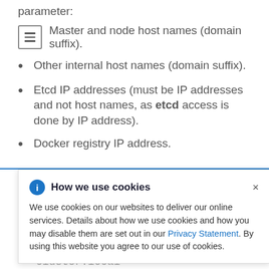parameter:
Master and node host names (domain suffix).
Other internal host names (domain suffix).
Etcd IP addresses (must be IP addresses and not host names, as etcd access is done by IP address).
Docker registry IP address.
[Figure (screenshot): Cookie consent banner overlay with title 'How we use cookies', info icon, close button (×), and text: 'We use cookies on our websites to deliver our online services. Details about how we use cookies and how you may disable them are set out in our Privacy Statement. By using this website you agree to our use of cookies.']
Kubernetes internal domain suffix.
cluster.local